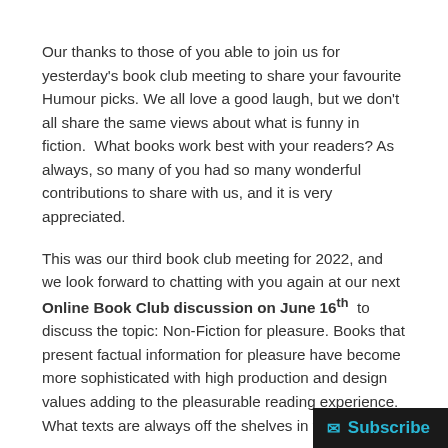Our thanks to those of you able to join us for yesterday's book club meeting to share your favourite Humour picks. We all love a good laugh, but we don't all share the same views about what is funny in fiction.  What books work best with your readers? As always, so many of you had so many wonderful contributions to share with us, and it is very appreciated.
This was our third book club meeting for 2022, and we look forward to chatting with you again at our next Online Book Club discussion on June 16th  to discuss the topic: Non-Fiction for pleasure. Books that present factual information for pleasure have become more sophisticated with high production and design values adding to the pleasurable reading experience. What texts are always off the shelves in your library?
Disclaimer: The lists generated as a result of Book Club discussions are not, by any means, an exhaustive list of all titles or authors for each genre/category discussed. titles or suitable for all libraries. We advise staff di...